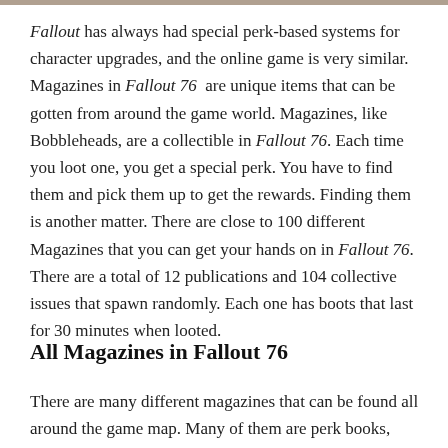Fallout has always had special perk-based systems for character upgrades, and the online game is very similar. Magazines in Fallout 76 are unique items that can be gotten from around the game world. Magazines, like Bobbleheads, are a collectible in Fallout 76. Each time you loot one, you get a special perk. You have to find them and pick them up to get the rewards. Finding them is another matter. There are close to 100 different Magazines that you can get your hands on in Fallout 76. There are a total of 12 publications and 104 collective issues that spawn randomly. Each one has boots that last for 30 minutes when looted.
All Magazines in Fallout 76
There are many different magazines that can be found all around the game map. Many of them are perk books, which allow the